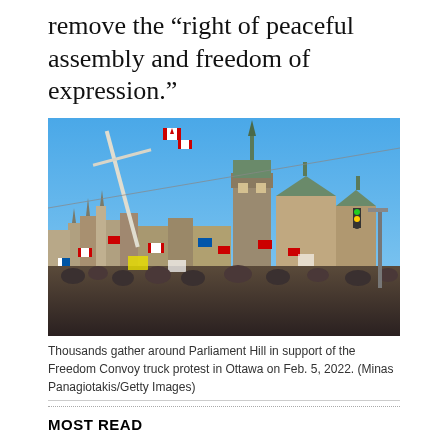remove the “right of peaceful assembly and freedom of expression.”
[Figure (photo): Crowd of thousands gathered around Parliament Hill in Ottawa with flags and cranes visible against a clear blue sky, during the Freedom Convoy truck protest on Feb. 5, 2022.]
Thousands gather around Parliament Hill in support of the Freedom Convoy truck protest in Ottawa on Feb. 5, 2022. (Minas Panagiotakis/Getty Images)
MOST READ